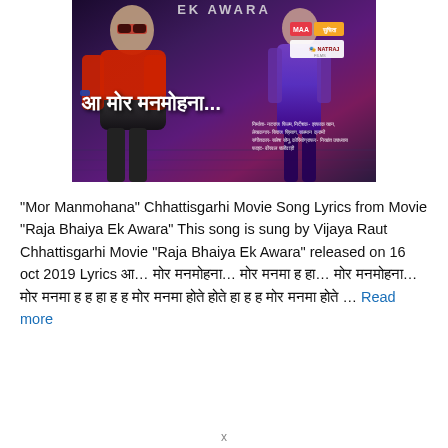[Figure (photo): Movie poster for Chhattisgarhi film 'Raja Bhaiya Ek Awara'. Shows a man in red jacket with sunglasses on left, a woman in purple on right, Hindi title text 'Aa Mor Manmohana...' in white, production logos (MAA, Suchita, Natraj) on right, and film credits text in Hindi at bottom right.]
“Mor Manmohana” Chhattisgarhi Movie Song Lyrics from Movie “Raja Bhaiya Ek Awara” This song is sung by Vijaya Raut Chhattisgarhi Movie “Raja Bhaiya Ek Awara” released on 16 oct 2019 Lyrics आ… मोर मनमोहना… मोर मना ह हा… मोर मनमोहना… मोर मना ह ह हा ह ह मोर मना होते होते हा ह ह मोर मना होते ... Read more